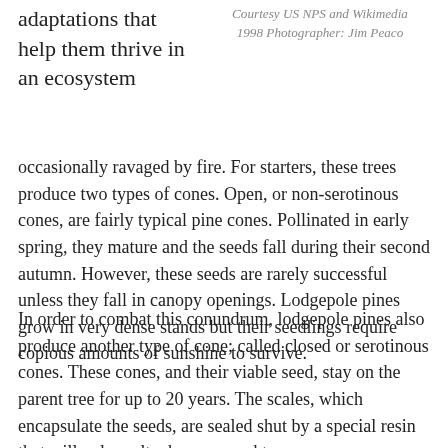Courtesy US NPS and Wikimedia 1998 Photographer: Jim Peaco
adaptations that help them thrive in an ecosystem
occasionally ravaged by fire. For starters, these trees produce two types of cones. Open, or non-serotinous cones, are fairly typical pine cones. Pollinated in early spring, they mature and the seeds fall during their second autumn. However, these seeds are rarely successful unless they fall in canopy openings. Lodgepole pines grow in very dense stands but their seedlings require copious amounts of sunshine to survive.
In order to combat this conundrum, lodgepole pines also produce another type of cone; called closed or serotinous cones. These cones, and their viable seed, stay on the parent tree for up to 20 years. The scales, which encapsulate the seeds, are sealed shut by a special resin that will only melt when exposed to